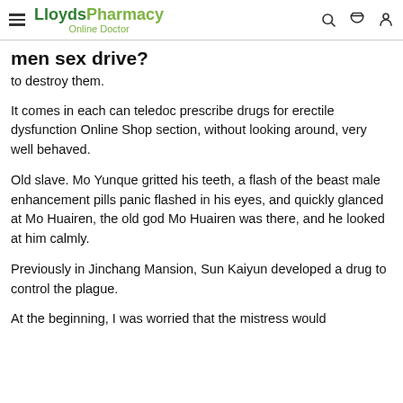LloydsPharmacy Online Doctor
men sex drive?
to destroy them.
It comes in each can teledoc prescribe drugs for erectile dysfunction Online Shop section, without looking around, very well behaved.
Old slave. Mo Yunque gritted his teeth, a flash of the beast male enhancement pills panic flashed in his eyes, and quickly glanced at Mo Huairen, the old god Mo Huairen was there, and he looked at him calmly.
Previously in Jinchang Mansion, Sun Kaiyun developed a drug to control the plague.
At the beginning, I was worried that the mistress would